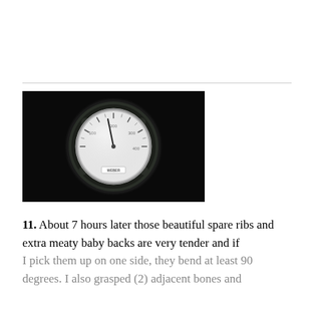[Figure (photo): Close-up photograph of a circular Weber grill thermometer gauge with a dark metallic bezel against a black background. The dial face is white/silver with a needle pointing upward.]
11. About 7 hours later those beautiful spare ribs and extra meaty baby backs are very tender and if I pick them up on one side, they bend at least 90 degrees. I also grasped (2) adjacent bones and